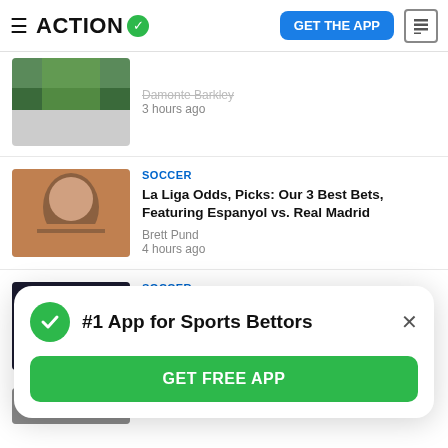ACTION
Damonte Barkley
3 hours ago
SOCCER
La Liga Odds, Picks: Our 3 Best Bets, Featuring Espanyol vs. Real Madrid
Brett Pund
4 hours ago
SOCCER
Forest vs. Spurs: Get Creative With This Same Game Parlay
Brett Pund
#1 App for Sports Bettors
GET FREE APP